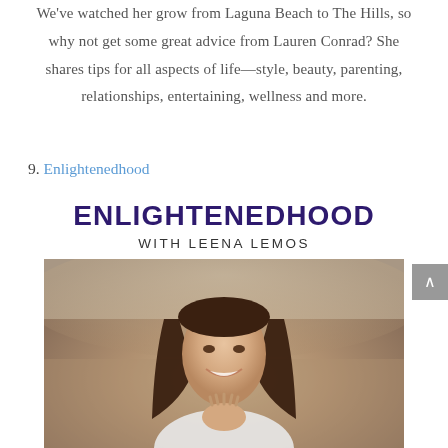We've watched her grow from Laguna Beach to The Hills, so why not get some great advice from Lauren Conrad? She shares tips for all aspects of life—style, beauty, parenting, relationships, entertaining, wellness and more.
9. Enlightenedhood
[Figure (illustration): Podcast cover art and photo for 'Enlightenedhood with Leena Lemos'. Shows bold dark purple/navy text 'ENLIGHTENEDHOOD' with subtitle 'WITH LEENA LEMOS', and a photo of a smiling woman with long brown hair holding her hands together in a prayer pose, standing in an outdoor field setting.]